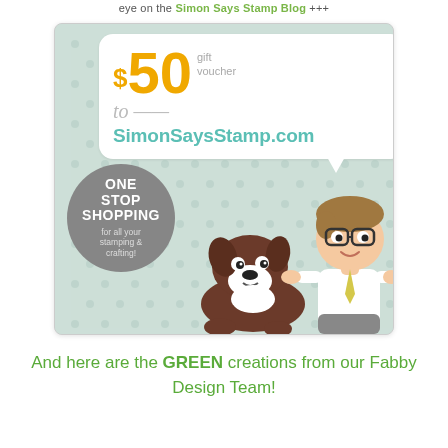eye on the Simon Says Stamp Blog +++
[Figure (illustration): A $50 gift voucher advertisement for SimonSaysStamp.com featuring a speech bubble with '$50 gift voucher to SimonSaysStamp.com', a grey circle badge reading 'ONE STOP SHOPPING for all your stamping & crafting!', and cartoon illustrations of a Boston Terrier dog and a boy character with glasses on a mint green polka-dot background.]
And here are the GREEN creations from our Fabby Design Team!